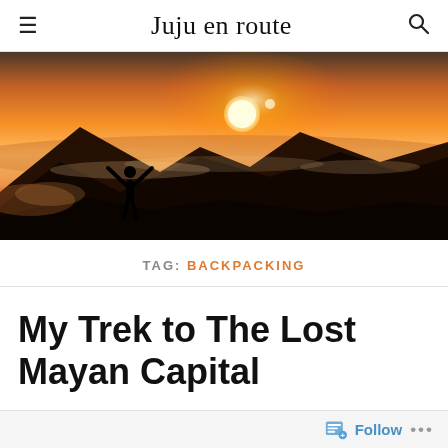Juju en route
[Figure (photo): A dramatic mountain sunrise/sunset panorama with a silhouette of a person with arms raised, clouds below mountain peaks, orange and golden sky with bright sun]
TAG: BACKPACKING
My Trek to The Lost Mayan Capital
Follow ...